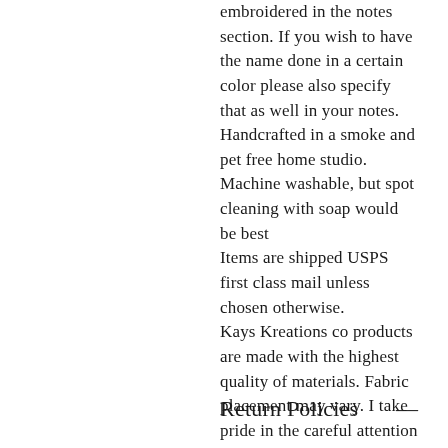embroidered in the notes section. If you wish to have the name done in a certain color please also specify that as well in your notes.
Handcrafted in a smoke and pet free home studio.
Machine washable, but spot cleaning with soap would be best
Items are shipped USPS first class mail unless chosen otherwise.
Kays Kreations co products are made with the highest quality of materials. Fabric placement may vary. I take pride in the careful attention to detail we put into every item made.
Return Policies